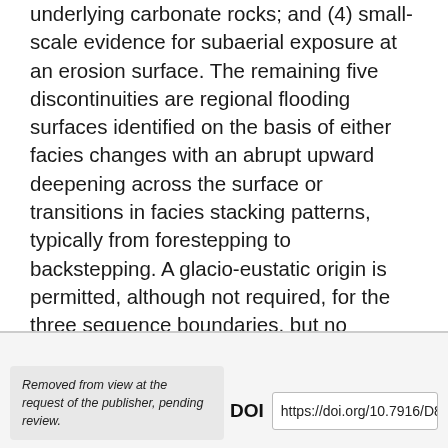underlying carbonate rocks; and (4) small-scale evidence for subaerial exposure at an erosion surface. The remaining five discontinuities are regional flooding surfaces identified on the basis of either facies changes with an abrupt upward deepening across the surface or transitions in facies stacking patterns, typically from forestepping to backstepping. A glacio-eustatic origin is permitted, although not required, for the three sequence boundaries, but no evidence has been found for marked lowering of sea level at other horizons. A mismatch between the stratigraphic location of sequence boundaries and carbon isotope minima suggests that local diagenetic alteration or oceanographic phenomena unrelated to glaciation may be in part responsible for.
Removed from view at the request of the publisher, pending review.
DOI https://doi.org/10.7916/D8K3